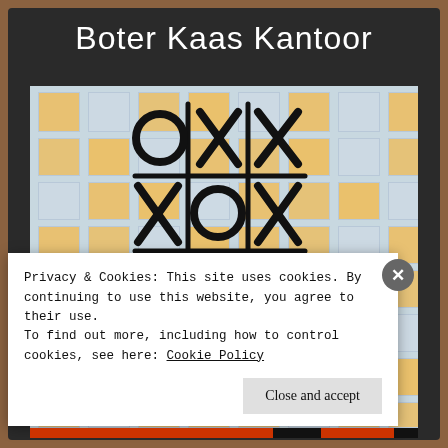Boter Kaas Kantoor
[Figure (photo): Photo of a multi-story office building facade at dusk with lit windows arranged in a grid pattern. Overlaid on the windows is a hand-drawn tic-tac-toe (noughts and crosses) game showing X and O symbols drawn in black.]
Privacy & Cookies: This site uses cookies. By continuing to use this website, you agree to their use.
To find out more, including how to control cookies, see here: Cookie Policy
Close and accept